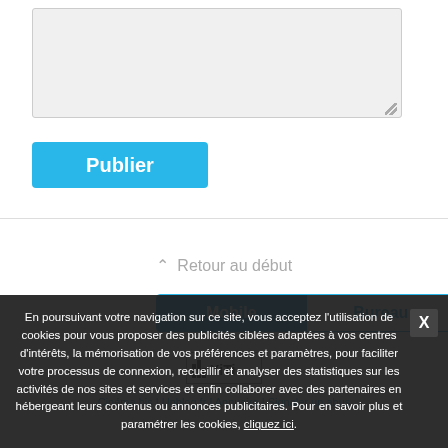[Figure (screenshot): Gray textarea input box with resize handle in bottom right corner]
[Figure (screenshot): Blue 'Publier' button]
⌃ Retour au début
[Figure (screenshot): Toggle bar with 'Mobile' (active, blue background) and 'Bureau' (inactive, white background with blue text) tabs]
[Figure (logo): XiTi analytics logo in a bordered box]
Cinéma.bis | Unblog.fr | Annuaire | Signaler un abus
En poursuivant votre navigation sur ce site, vous acceptez l'utilisation de cookies pour vous proposer des publicités ciblées adaptées à vos centres d'intérêts, la mémorisation de vos préférences et paramètres, pour faciliter votre processus de connexion, recueillir et analyser des statistiques sur les activités de nos sites et services et enfin collaborer avec des partenaires en hébergeant leurs contenus ou annonces publicitaires. Pour en savoir plus et paramétrer les cookies, cliquez ici.